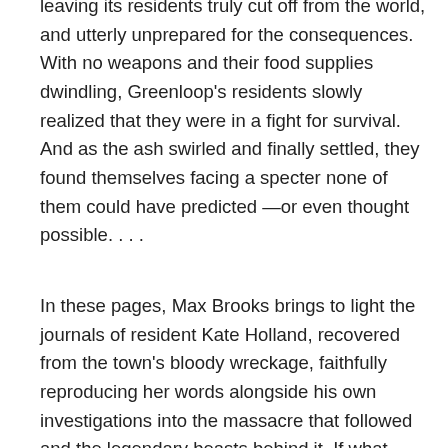leaving its residents truly cut off from the world, and utterly unprepared for the consequences. With no weapons and their food supplies dwindling, Greenloop's residents slowly realized that they were in a fight for survival. And as the ash swirled and finally settled, they found themselves facing a specter none of them could have predicted —or even thought possible. . . .
In these pages, Max Brooks brings to light the journals of resident Kate Holland, recovered from the town's bloody wreckage, faithfully reproducing her words alongside his own investigations into the massacre that followed and the legendary beasts behind it. If what Kate saw in those days is real, then we must accept the impossible. We must accept that the creature known as Bigfoot...